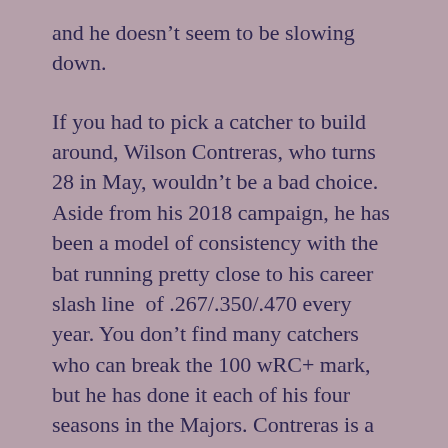and he doesn't seem to be slowing down.
If you had to pick a catcher to build around, Wilson Contreras, who turns 28 in May, wouldn't be a bad choice. Aside from his 2018 campaign, he has been a model of consistency with the bat running pretty close to his career slash line  of .267/.350/.470 every year. You don't find many catchers who can break the 100 wRC+ mark, but he has done it each of his four seasons in the Majors. Contreras is a little prone to chasing but still manages to keep his walk rate close to 10% (career 9.7%) and his strikeout rate around 23%. In a world where most teams are thrilled with a catcher who can manage a wRC+ of 90, Contreras is practically a